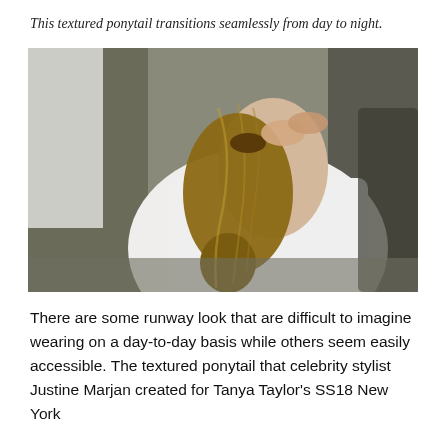This textured ponytail transitions seamlessly from day to night.
[Figure (photo): Behind-the-scenes photo showing the back of a model's head with a textured ponytail being styled. The model is wearing a white shirt and a stylist's hands are visible working on the ponytail.]
There are some runway look that are difficult to imagine wearing on a day-to-day basis while others seem easily accessible. The textured ponytail that celebrity stylist Justine Marjan created for Tanya Taylor's SS18 New York